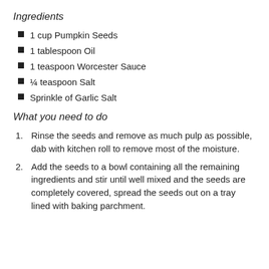Ingredients
1 cup Pumpkin Seeds
1 tablespoon Oil
1 teaspoon Worcester Sauce
¼ teaspoon Salt
Sprinkle of Garlic Salt
What you need to do
Rinse the seeds and remove as much pulp as possible, dab with kitchen roll to remove most of the moisture.
Add the seeds to a bowl containing all the remaining ingredients and stir until well mixed and the seeds are completely covered, spread the seeds out on a tray lined with baking parchment.